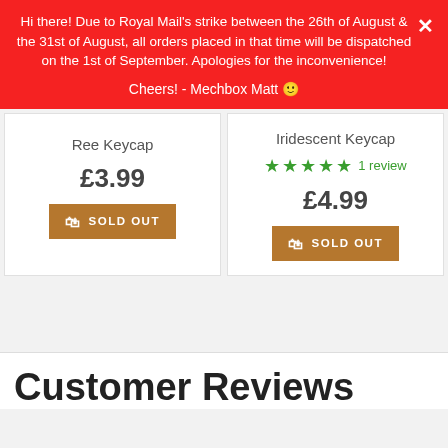Hi there! Due to Royal Mail's strike between the 26th of August & the 31st of August, all orders placed in that time will be dispatched on the 1st of September. Apologies for the inconvenience!

Cheers! - Mechbox Matt 🙂
Ree Keycap
£3.99
SOLD OUT
Iridescent Keycap
★★★★★ 1 review
£4.99
SOLD OUT
Customer Reviews